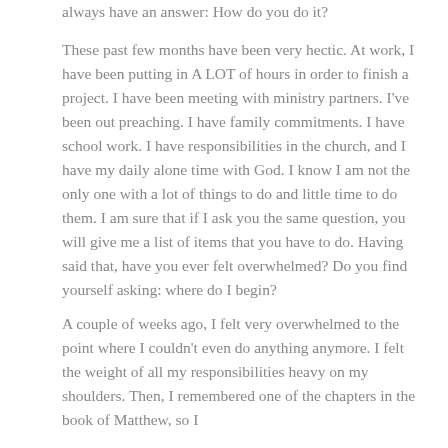always have an answer: How do you do it?
These past few months have been very hectic. At work, I have been putting in A LOT of hours in order to finish a project. I have been meeting with ministry partners. I've been out preaching. I have family commitments. I have school work. I have responsibilities in the church, and I have my daily alone time with God. I know I am not the only one with a lot of things to do and little time to do them. I am sure that if I ask you the same question, you will give me a list of items that you have to do. Having said that, have you ever felt overwhelmed? Do you find yourself asking: where do I begin?
A couple of weeks ago, I felt very overwhelmed to the point where I couldn't even do anything anymore. I felt the weight of all my responsibilities heavy on my shoulders. Then, I remembered one of the chapters in the book of Matthew, so I